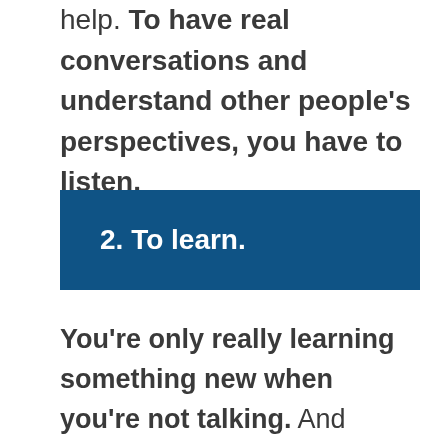help. To have real conversations and understand other people's perspectives, you have to listen.
2. To learn.
You're only really learning something new when you're not talking. And everyone around you knows something you don't. So stop talking, use your active listening skills,